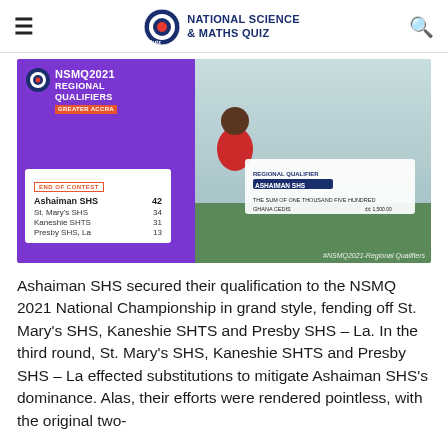NATIONAL SCIENCE & MATHS QUIZ
[Figure (photo): NSMQ 2021 Regional Qualifiers Greater Accra event photo showing students and officials holding a cheque for ONE THOUSAND FIVE HUNDRED GHANA CEDIS awarded to Ashaiman SHS. Score card shows: Ashaiman SHS 42, St. Mary's SHS 34, Kaneshie SHTS 31, Presby SHS, La 13.]
Ashaiman SHS secured their qualification to the NSMQ 2021 National Championship in grand style, fending off St. Mary's SHS, Kaneshie SHTS and Presby SHS – La. In the third round, St. Mary's SHS, Kaneshie SHTS and Presby SHS – La effected substitutions to mitigate Ashaiman SHS's dominance. Alas, their efforts were rendered pointless, with the original two-